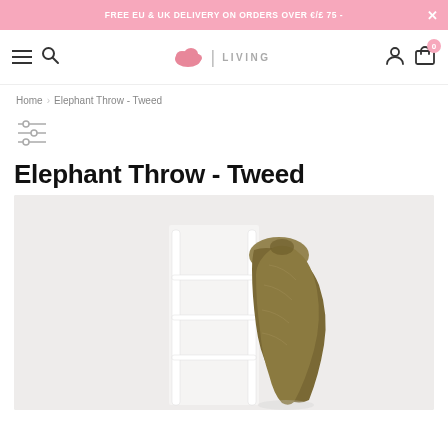FREE EU & UK DELIVERY ON ORDERS OVER €/£ 75 -
[Figure (screenshot): Website navigation bar with hamburger menu, search icon, cloud logo with LIVING text, user account icon, and shopping cart icon with badge showing 0]
Home > Elephant Throw - Tweed
[Figure (illustration): Filter/settings sliders icon]
Elephant Throw - Tweed
[Figure (photo): A tweed throw draped over a white ladder-style rack against a light grey/white wall background]